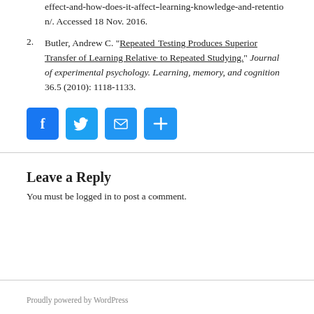effect-and-how-does-it-affect-learning-knowledge-and-retention/. Accessed 18 Nov. 2016.
2. Butler, Andrew C. "Repeated Testing Produces Superior Transfer of Learning Relative to Repeated Studying." Journal of experimental psychology. Learning, memory, and cognition 36.5 (2010): 1118-1133.
[Figure (other): Social share icons: Facebook, Twitter, Email, and Share/Plus buttons in blue]
Leave a Reply
You must be logged in to post a comment.
Proudly powered by WordPress